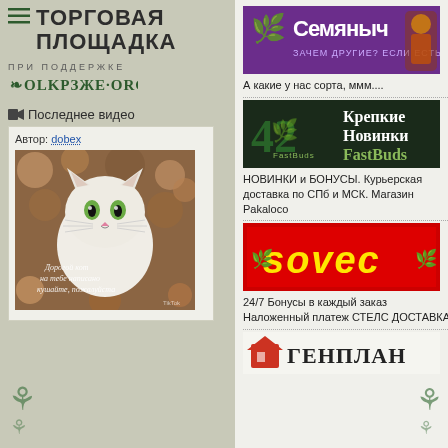ТОРГОВАЯ ПЛОЩАДКА
ПРИ ПОДДЕРЖКЕ OLKPASS·ORG
Последнее видео
Автор: dobex
[Figure (photo): Photo of a white fluffy cat with green eyes surrounded by flowers with italic text overlay]
[Figure (illustration): Семяныч banner - purple background with logo and mascot character, text: ЗАЧЕМ ДРУГИЕ? ЕСЛИ ЕСТЬ МЫ]
А какие у нас сорта, ммм....
[Figure (illustration): 42 FastBuds banner - dark background with cannabis leaf, text: Крепкие Новинки FastBuds]
НОВИНКИ и БОНУСЫ. Курьерская доставка по СПб и МСК. Магазин Pakaloco
[Figure (logo): SOVEC logo on red/yellow background]
24/7 Бонусы в каждый заказ Наложенный платеж СТЕЛС ДОСТАВКА
[Figure (logo): ГЕНПЛАН logo with house icon]